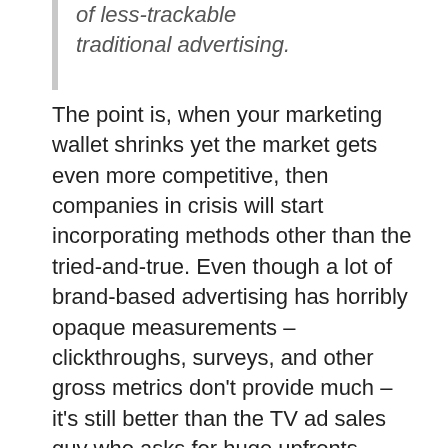of less-trackable traditional advertising.
The point is, when your marketing wallet shrinks yet the market gets even more competitive, then companies in crisis will start incorporating methods other than the tried-and-true. Even though a lot of brand-based advertising has horribly opaque measurements – clickthroughs, surveys, and other gross metrics don't provide much – it's still better than the TV ad sales guy who asks for huge upfronts without providing much in transparency.
So consider this movement of dollars from offline to online a big plus for any ad-based startup.
2) Brand areas weak, direct response will be less affected
Of course, as the quote above alluded to, the strength of